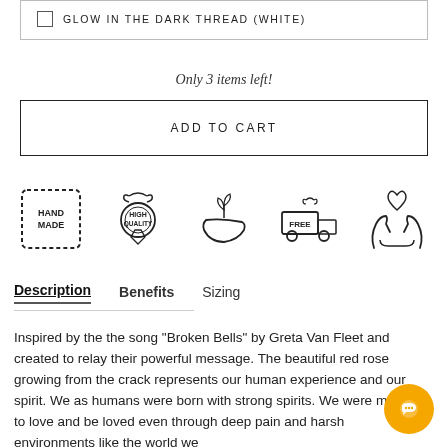GLOW IN THE DARK THREAD (WHITE)
Only 3 items left!
ADD TO CART
[Figure (illustration): Five icons in a row: Handmade badge, High Quality medal, plant on hand (sustainable), free delivery truck, hands holding heart (care)]
Description   Benefits   Sizing
Inspired by the the song "Broken Bells" by Greta Van Fleet and created to relay their powerful message. The beautiful red rose growing from the crack represents our human experience and our spirit. We as humans were born with strong spirits. We were made to love and be loved even through deep pain and harsh environments like the world we